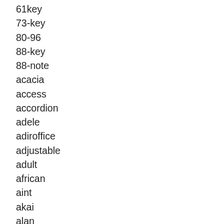61key
73-key
80-96
88-key
88-note
acacia
access
accordion
adele
adiroffice
adjustable
adult
african
aint
akai
alan
alesis
alicia
allodi
alphabet
amazing